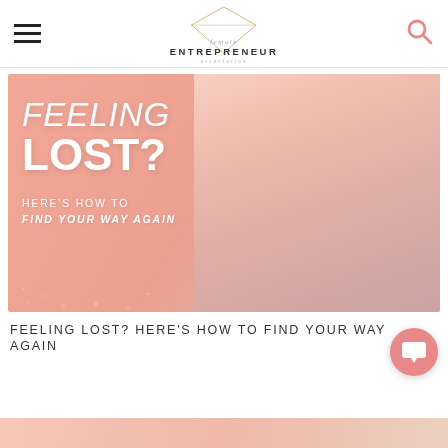female ENTREPRENEUR association
[Figure (illustration): Promotional blog post image with salmon/pink background showing a blonde woman in pink. Large white text reads: FEELING LOST? HERE'S HOW TO FIND YOUR WAY AGAIN]
FEELING LOST? HERE'S HOW TO FIND YOUR WAY AGAIN